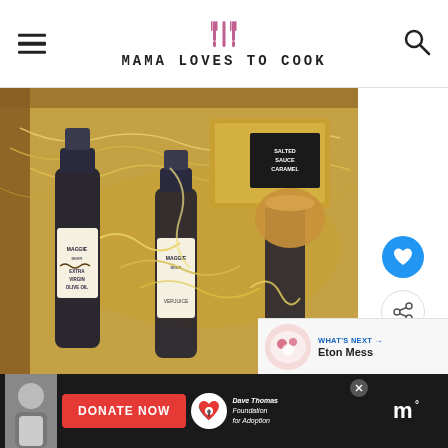MAMA LOVES TO COOK
[Figure (photo): A wooden gift basket filled with gourmet food products including bottles of Maggie Beer Extra Virgin Olive Oil, Verjuice, and other products with straw packing material]
[Figure (photo): Small circular thumbnail of Eton Mess dessert]
WHAT'S NEXT → Eton Mess
[Figure (photo): Advertisement banner showing a young man with Dave Thomas Foundation for Adoption donation request]
DONATE NOW
Dave Thomas Foundation for Adoption